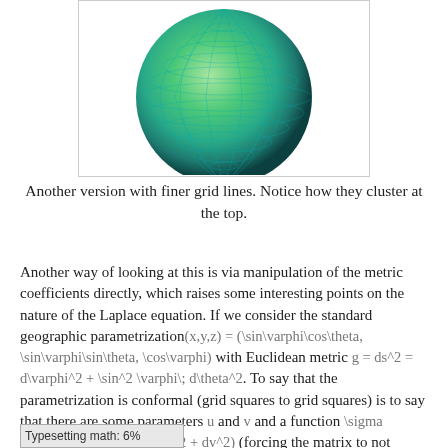[Figure (illustration): A rendered 3D sphere with green-to-teal coloring and a fine grid line overlay, showing how grid lines cluster near the top pole.]
Another version with finer grid lines. Notice how they cluster at the top.
Another way of looking at this is via manipulation of the metric coefficients directly, which raises some interesting points on the nature of the Laplace equation. If we consider the standard geographic parametrization(x,y,z) = (\sin\varphi\cos\theta, \sin\varphi\sin\theta, \cos\varphi) with Euclidean metric g = ds^2 = d\varphi^2 + \sin^2 \varphi\; d\theta^2. To say that the parametrization is conformal (grid squares to grid squares) is to say that there are some parameters u and v and a function \sigma such that g = \sigma^2(du^2 + dv^2) (forcing the matrix to not but a multiple of the identity). If we set things up
Typesetting math: 6%